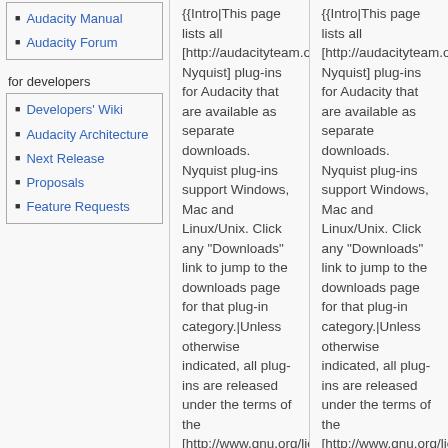Audacity Manual
Audacity Forum
for developers
Developers' Wiki
Audacity Architecture
Next Release
Proposals
Feature Requests
{{Intro|This page lists all [http://audacityteam.org/help/nyquist Nyquist] plug-ins for Audacity that are available as separate downloads. Nyquist plug-ins support Windows, Mac and Linux/Unix. Click any "Downloads" link to jump to the downloads page for that plug-in category.|Unless otherwise indicated, all plug-ins are released under the terms of the [http://www.gnu.org/licenses/old-licenses/gpl-2.0.html GNU General Public
{{Intro|This page lists all [http://audacityteam.org/help/nyquist Nyquist] plug-ins for Audacity that are available as separate downloads. Nyquist plug-ins support Windows, Mac and Linux/Unix. Click any "Downloads" link to jump to the downloads page for that plug-in category.|Unless otherwise indicated, all plug-ins are released under the terms of the [http://www.gnu.org/licenses/old-licenses/gpl-2.0.html GNU General Public